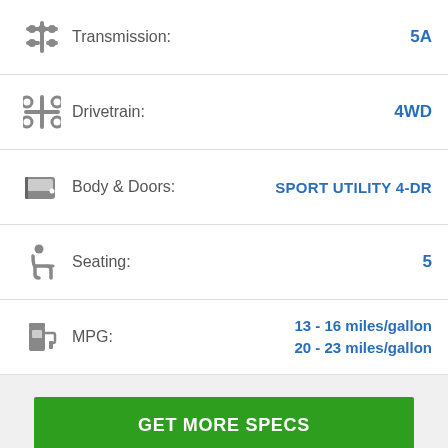Transmission: 5A
Drivetrain: 4WD
Body & Doors: SPORT UTILITY 4-DR
Seating: 5
MPG: 13 - 16 miles/gallon  20 - 23 miles/gallon
GET MORE SPECS
2013 Jeep Grand Cherokee Laredo 2WD
Engine: 3.6L V6 DOHC 24V